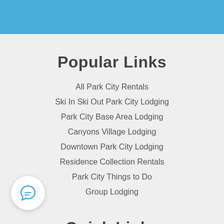Popular Links
All Park City Rentals
Ski In Ski Out Park City Lodging
Park City Base Area Lodging
Canyons Village Lodging
Downtown Park City Lodging
Residence Collection Rentals
Park City Things to Do
Group Lodging
Quick Links
Reservation Policies